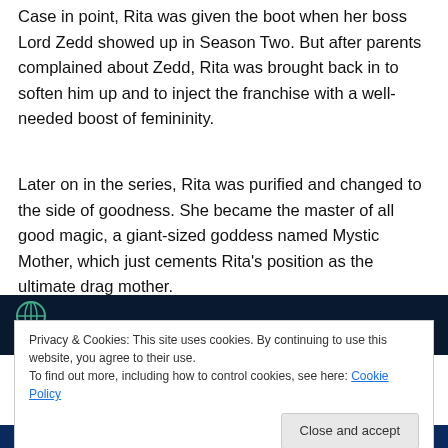Case in point, Rita was given the boot when her boss Lord Zedd showed up in Season Two. But after parents complained about Zedd, Rita was brought back in to soften him up and to inject the franchise with a well-needed boost of femininity.
Later on in the series, Rita was purified and changed to the side of goodness. She became the master of all good magic, a giant-sized goddess named Mystic Mother, which just cements Rita's position as the ultimate drag mother.
[Figure (screenshot): Dark background image (website screenshot top bar with globe icon)]
Privacy & Cookies: This site uses cookies. By continuing to use this website, you agree to their use.
To find out more, including how to control cookies, see here: Cookie Policy
Close and accept
[Figure (screenshot): Blue-tinted image at bottom of page]